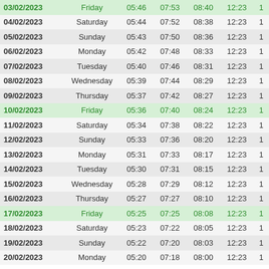| Date | Day | T1 | T2 | T3 | T4 | T5 |
| --- | --- | --- | --- | --- | --- | --- |
| 03/02/2023 | Friday | 05:46 | 07:53 | 08:40 | 12:23 | 1 |
| 04/02/2023 | Saturday | 05:44 | 07:52 | 08:38 | 12:23 | 1 |
| 05/02/2023 | Sunday | 05:43 | 07:50 | 08:36 | 12:23 | 1 |
| 06/02/2023 | Monday | 05:42 | 07:48 | 08:33 | 12:23 | 1 |
| 07/02/2023 | Tuesday | 05:40 | 07:46 | 08:31 | 12:23 | 1 |
| 08/02/2023 | Wednesday | 05:39 | 07:44 | 08:29 | 12:23 | 1 |
| 09/02/2023 | Thursday | 05:37 | 07:42 | 08:27 | 12:23 | 1 |
| 10/02/2023 | Friday | 05:36 | 07:40 | 08:24 | 12:23 | 1 |
| 11/02/2023 | Saturday | 05:34 | 07:38 | 08:22 | 12:23 | 1 |
| 12/02/2023 | Sunday | 05:33 | 07:36 | 08:20 | 12:23 | 1 |
| 13/02/2023 | Monday | 05:31 | 07:33 | 08:17 | 12:23 | 1 |
| 14/02/2023 | Tuesday | 05:30 | 07:31 | 08:15 | 12:23 | 1 |
| 15/02/2023 | Wednesday | 05:28 | 07:29 | 08:12 | 12:23 | 1 |
| 16/02/2023 | Thursday | 05:27 | 07:27 | 08:10 | 12:23 | 1 |
| 17/02/2023 | Friday | 05:25 | 07:25 | 08:08 | 12:23 | 1 |
| 18/02/2023 | Saturday | 05:23 | 07:22 | 08:05 | 12:23 | 1 |
| 19/02/2023 | Sunday | 05:22 | 07:20 | 08:03 | 12:23 | 1 |
| 20/02/2023 | Monday | 05:20 | 07:18 | 08:00 | 12:23 | 1 |